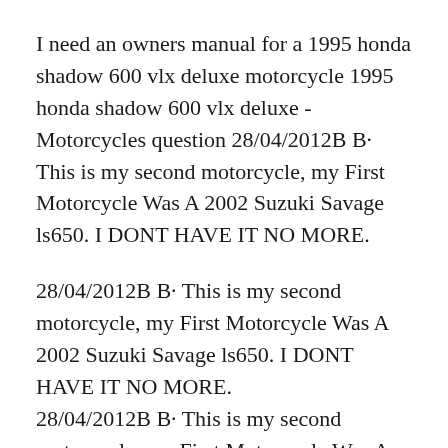I need an owners manual for a 1995 honda shadow 600 vlx deluxe motorcycle 1995 honda shadow 600 vlx deluxe - Motorcycles question 28/04/2012B B· This is my second motorcycle, my First Motorcycle Was A 2002 Suzuki Savage ls650. I DONT HAVE IT NO MORE.
28/04/2012B B· This is my second motorcycle, my First Motorcycle Was A 2002 Suzuki Savage ls650. I DONT HAVE IT NO MORE.
28/04/2012B B· This is my second motorcycle, my First Motorcycle Was A 2002 Suzuki Savage ls650. I DONT HAVE IT NO MORE.
1995 2007 Clymer Honda VT1100 Series Service Repair Maintenance Manual Used  by Honda Jan